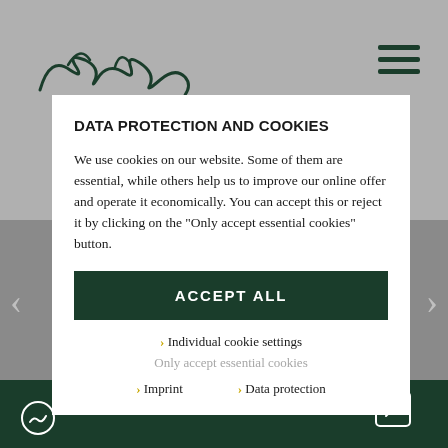[Figure (screenshot): Website background showing Carola Daimler signature logo on grey background with hamburger menu icon, navigation arrows, and dark green bottom bar]
DATA PROTECTION AND COOKIES
We use cookies on our website. Some of them are essential, while others help us to improve our online offer and operate it economically. You can accept this or reject it by clicking on the "Only accept essential cookies" button.
ACCEPT ALL
› Individual cookie settings
Only accept essential cookies
› Imprint
› Data protection